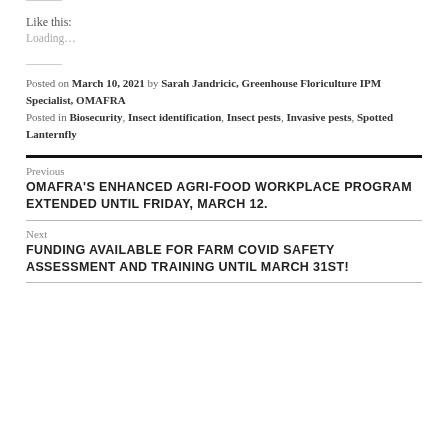Like this:
Loading…
Posted on March 10, 2021 by Sarah Jandricic, Greenhouse Floriculture IPM Specialist, OMAFRA
Posted in Biosecurity, Insect identification, Insect pests, Invasive pests, Spotted Lanternfly
Previous
OMAFRA'S ENHANCED AGRI-FOOD WORKPLACE PROGRAM EXTENDED UNTIL FRIDAY, MARCH 12.
Next
FUNDING AVAILABLE FOR FARM COVID SAFETY ASSESSMENT AND TRAINING UNTIL MARCH 31ST!